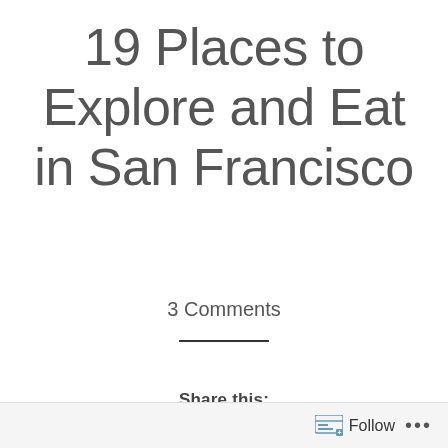19 Places to Explore and Eat in San Francisco
3 Comments
Share this:
Follow ...